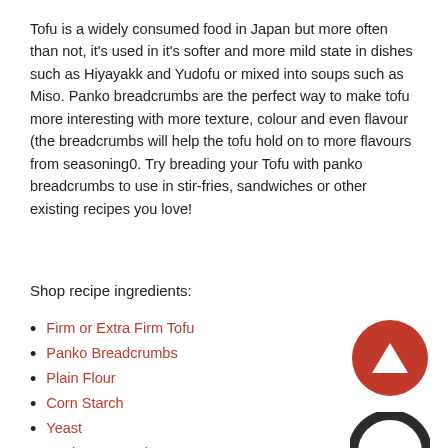Tofu is a widely consumed food in Japan but more often than not, it's used in it's softer and more mild state in dishes such as Hiyayakk and Yudofu or mixed into soups such as Miso. Panko breadcrumbs are the perfect way to make tofu more interesting with more texture, colour and even flavour (the breadcrumbs will help the tofu hold on to more flavours from seasoning0. Try breading your Tofu with panko breadcrumbs to use in stir-fries, sandwiches or other existing recipes you love!
Shop recipe ingredients:
Firm or Extra Firm Tofu
Panko Breadcrumbs
Plain Flour
Corn Starch
Yeast
Poultry Seasoning
Salt
[Figure (other): Red circle button with white upward triangle arrow icon]
[Figure (other): Dark circular chat/message bubble icon]